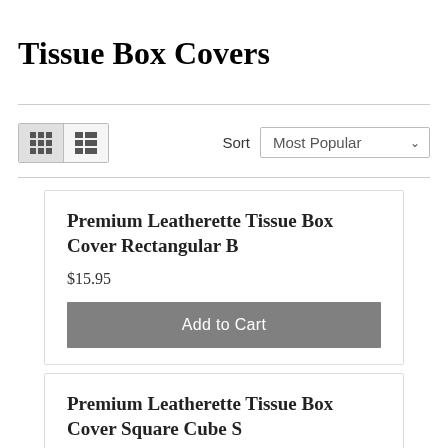Tissue Box Covers
[Figure (screenshot): Toolbar with grid/list view toggle buttons and a 'Sort: Most Popular' dropdown selector]
Premium Leatherette Tissue Box Cover Rectangular B
$15.95
Add to Cart
Premium Leatherette Tissue Box Cover Square Cube S
$16.95